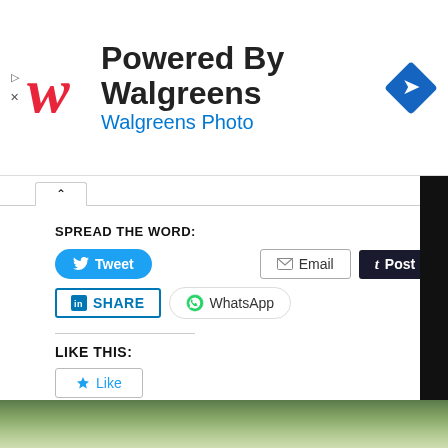[Figure (logo): Walgreens ad banner with cursive W logo, text 'Powered By Walgreens' and 'Walgreens Photo', blue diamond direction icon on right, play and close icons on left]
SPREAD THE WORD:
[Figure (screenshot): Social sharing buttons row 1: Tweet (Twitter blue), Email (outlined), Post (Tumblr dark)]
[Figure (screenshot): Social sharing buttons row 2: LinkedIn SHARE (outlined blue), WhatsApp (outlined with green icon)]
LIKE THIS:
[Figure (screenshot): Like button with star icon]
Be the first to like this.
[Figure (photo): Bottom strip showing blurred green foliage/trees background]